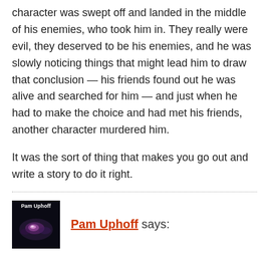character was swept off and landed in the middle of his enemies, who took him in. They really were evil, they deserved to be his enemies, and he was slowly noticing things that might lead him to draw that conclusion — his friends found out he was alive and searched for him — and just when he had to make the choice and had met his friends, another character murdered him.
It was the sort of thing that makes you go out and write a story to do it right.
[Figure (photo): Avatar thumbnail for Pam Uphoff showing a dark space/nebula image with text 'Pam Uphoff' at the top]
Pam Uphoff says: